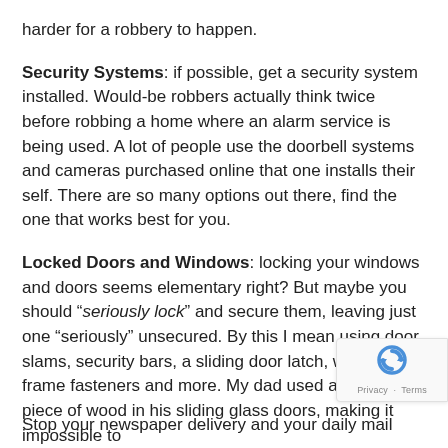harder for a robbery to happen.
Security Systems: if possible, get a security system installed. Would-be robbers actually think twice before robbing a home where an alarm service is being used. A lot of people use the doorbell systems and cameras purchased online that one installs their self. There are so many options out there, find the one that works best for you.
Locked Doors and Windows: locking your windows and doors seems elementary right? But maybe you should "seriously lock" and secure them, leaving just one "seriously" unsecured. By this I mean using door slams, security bars, a sliding door latch, window frame fasteners and more. My dad used a heavy piece of wood in his sliding glass doors, making it impossibly hard to open.
Stop your newspaper delivery and your daily mail